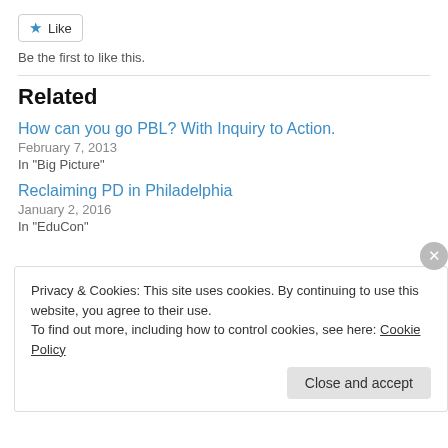[Figure (other): Like button with blue star icon]
Be the first to like this.
Related
How can you go PBL? With Inquiry to Action.
February 7, 2013
In "Big Picture"
Reclaiming PD in Philadelphia
January 2, 2016
In "EduCon"
Privacy & Cookies: This site uses cookies. By continuing to use this website, you agree to their use.
To find out more, including how to control cookies, see here: Cookie Policy
Close and accept